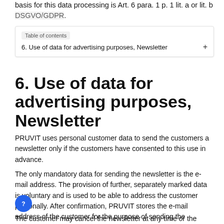basis for this data processing is Art. 6 para. 1 p. 1 lit. a or lit. b DSGVO/GDPR.
Table of contents
6. Use of data for advertising purposes, Newsletter +
6. Use of data for advertising purposes, Newsletter
PRUVIT uses personal customer data to send the customers a newsletter only if the customers have consented to this use in advance.
The only mandatory data for sending the newsletter is the e-mail address. The provision of further, separately marked data is voluntary and is used to be able to address the customer personally. After confirmation, PRUVIT stores the e-mail address of the customer for the purpose of sending the newsletter.
The customer may cancel the newsletter at any time or the